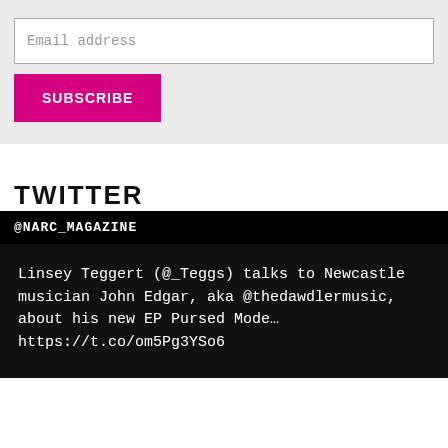[Figure (screenshot): Email subscription form with a text input labeled 'Email address' and a pink 'SUBSCRIBE' button on a light gray background]
TWITTER
@NARC_MAGAZINE
Linsey Teggert (@_Teggs) talks to Newcastle musician John Edgar, aka @thedawdlermusic, about his new EP Pursed Mode… https://t.co/om5Pg3YSo6